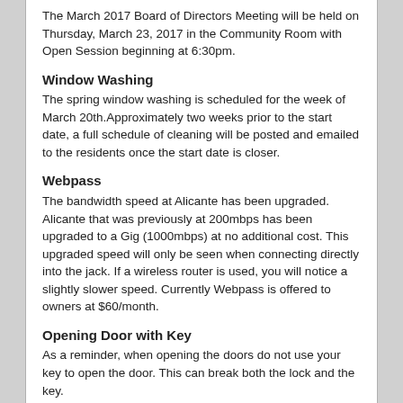The March 2017 Board of Directors Meeting will be held on Thursday, March 23, 2017 in the Community Room with Open Session beginning at 6:30pm.
Window Washing
The spring window washing is scheduled for the week of March 20th.Approximately two weeks prior to the start date, a full schedule of cleaning will be posted and emailed to the residents once the start date is closer.
Webpass
The bandwidth speed at Alicante has been upgraded. Alicante that was previously at 200mbps has been upgraded to a Gig (1000mbps) at no additional cost. This upgraded speed will only be seen when connecting directly into the jack. If a wireless router is used, you will notice a slightly slower speed. Currently Webpass is offered to owners at $60/month.
Opening Door with Key
As a reminder, when opening the doors do not use your key to open the door. This can break both the lock and the key.
Cardboard Boxes